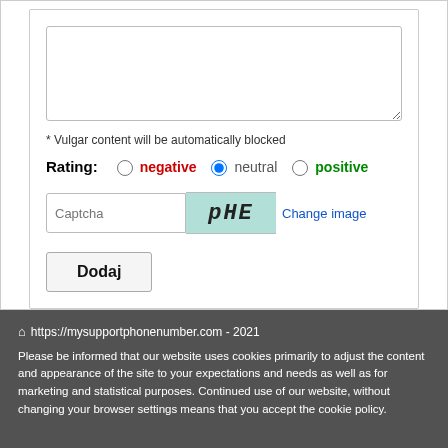* Vulgar content will be automatically blocked
Rating: negative neutral positive
[Figure (screenshot): Captcha image showing 'pHE' text in teal/mint background with Change image link]
Dodaj
https://mysupportphonenumber.com - 2021
Please be informed that our website uses cookies primarily to adjust the content and appearance of the site to your expectations and needs as well as for marketing and statistical purposes. Continued use of our website, without changing your browser settings means that you accept the cookie policy.